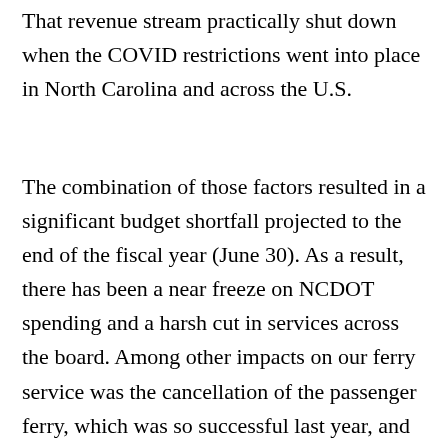That revenue stream practically shut down when the COVID restrictions went into place in North Carolina and across the U.S.
The combination of those factors resulted in a significant budget shortfall projected to the end of the fiscal year (June 30). As a result, there has been a near freeze on NCDOT spending and a harsh cut in services across the board. Among other impacts on our ferry service was the cancellation of the passenger ferry, which was so successful last year, and the slow move to a summer schedule. While these actions may be understandable from a big-